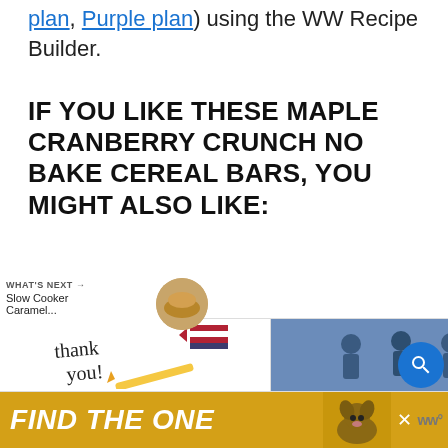plan, Purple plan) using the WW Recipe Builder.
IF YOU LIKE THESE MAPLE CRANBERRY CRUNCH NO BAKE CEREAL BARS, YOU MIGHT ALSO LIKE:
5 Favorite Easy No Bake Cookie Recipes (Simple-Nourished-Living)
[Figure (screenshot): Advertisement banner showing 'thank you' with American flag and Operation Gratitude logo]
[Figure (advertisement): Yellow banner advertisement reading FIND THE ONE with a dog image]